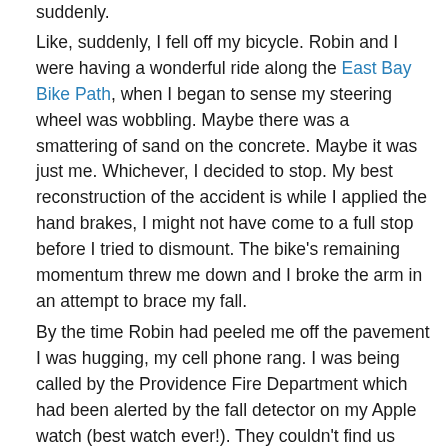suddenly.
Like, suddenly, I fell off my bicycle. Robin and I were having a wonderful ride along the East Bay Bike Path, when I began to sense my steering wheel was wobbling. Maybe there was a smattering of sand on the concrete. Maybe it was just me. Whichever, I decided to stop. My best reconstruction of the accident is while I applied the hand brakes, I might not have come to a full stop before I tried to dismount. The bike's remaining momentum threw me down and I broke the arm in an attempt to brace my fall.
By the time Robin had peeled me off the pavement I was hugging, my cell phone rang. I was being called by the Providence Fire Department which had been alerted by the fall detector on my Apple watch (best watch ever!). They couldn't find us because the path wasn't visible on